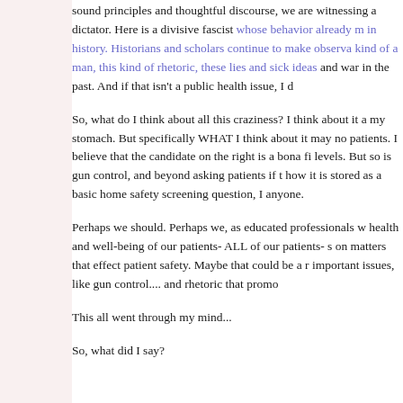sound principles and thoughtful discourse, we are witnessing a dictator. Here is a divisive fascist whose behavior already m in history. Historians and scholars continue to make observa kind of a man, this kind of rhetoric, these lies and sick ideas and war in the past. And if that isn't a public health issue, I d
So, what do I think about all this craziness? I think about it a my stomach. But specifically WHAT I think about it may no patients. I believe that the candidate on the right is a bona fi levels. But so is gun control, and beyond asking patients if t how it is stored as a basic home safety screening question, I anyone.
Perhaps we should. Perhaps we, as educated professionals w health and well-being of our patients- ALL of our patients- s on matters that effect patient safety. Maybe that could be a r important issues, like gun control.... and rhetoric that promo
This all went through my mind...
So, what did I say?